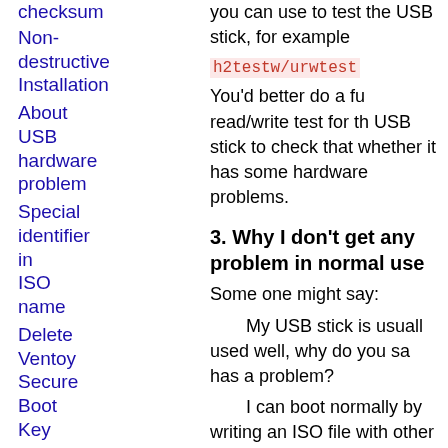checksum
Non-destructive Installation
About USB hardware problem
Special identifier in ISO name
Delete Ventoy Secure Boot Key
How Ventoy works
Ventoy
you can use to test the USB stick, for example
h2testw/urwtest
You'd better do a fu read/write test for th USB stick to check that whether it has some hardware problems.
3. Why I don't get any problem in normal use
Some one might say:
My USB stick is usuall used well, why do you sa has a problem?
I can boot normally by writing an ISO file with other tools, so my USB